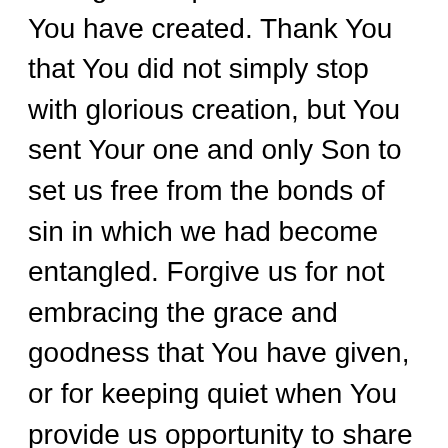through the splendor of all that You have created. Thank You that You did not simply stop with glorious creation, but You sent Your one and only Son to set us free from the bonds of sin in which we had become entangled. Forgive us for not embracing the grace and goodness that You have given, or for keeping quiet when You provide us opportunity to share of all that You have done for us. Teach us to trust You more, so that we will go forth boldly, wherever You call us to go. Lead us to love others in such a way, that they can clearly see Your heart through ours. May many come into a lasting relationship with You. Be glorified O God, as we observe Your glory all around us and go forth and tell of all